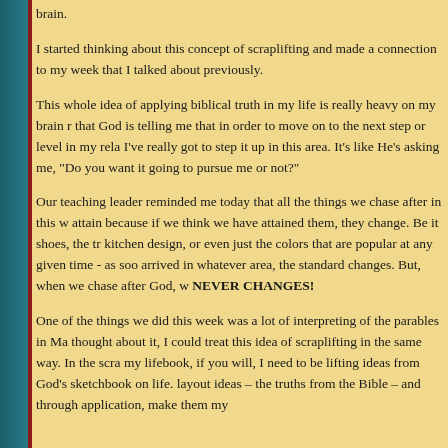brain.
I started thinking about this concept of scraplifting and made a connection to my week that I talked about previously.
This whole idea of applying biblical truth in my life is really heavy on my brain right now. I feel that God is telling me that in order to move on to the next step or level in my relationship with Him, I've really got to step it up in this area. It's like He's asking me, "Do you want it or not? Are you going to pursue me or not?"
Our teaching leader reminded me today that all the things we chase after in this world are impossible to attain because if we think we have attained them, they change. Be it shoes, the trends in decorating, kitchen design, or even just the colors that are popular at any given time - as soon as we think we've arrived in whatever area, the standard changes. But, when we chase after God, we chase after that NEVER CHANGES!
One of the things we did this week was a lot of interpreting of the parables in Matthew and as I thought about it, I could treat this idea of scraplifting in the same way. In the scrapbooking world, my lifebook, if you will, I need to be lifting ideas from God's sketchbook on life. I need to take the layout ideas – the truths from the Bible – and through application, make them my